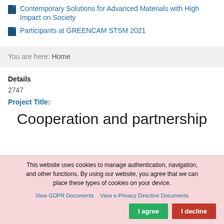Contemporary Solutions for Advanced Materials with High Impact on Society
Participants at GREENCAM STSM 2021
You are here:  Home
Details
2747
Project Title:
Cooperation and partnership
This website uses cookies to manage authentication, navigation, and other functions. By using our website, you agree that we can place these types of cookies on your device.
View GDPR Documents   View e-Privacy Directive Documents
I agree    I decline